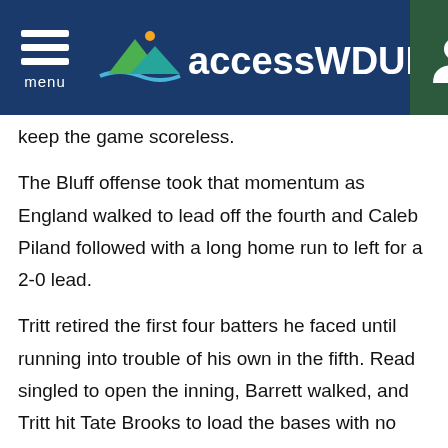menu | accessWDUN
keep the game scoreless.
The Bluff offense took that momentum as England walked to lead off the fourth and Caleb Piland followed with a long home run to left for a 2-0 lead.
Tritt retired the first four batters he faced until running into trouble of his own in the fifth. Read singled to open the inning, Barrett walked, and Tritt hit Tate Brooks to load the bases with no one out. After Jones struck out, Bowen walked to drive in a run and Bales was hit by a pitch to tie the game. But Tritt left the base loaded, getting Bradford